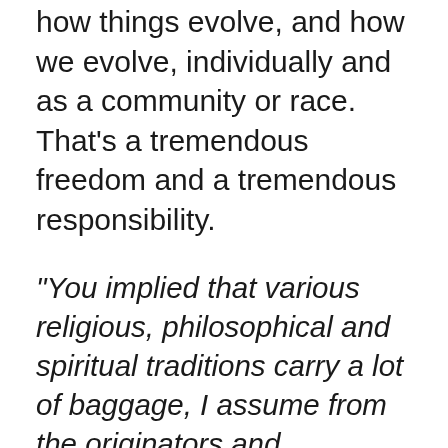how things evolve, and how we evolve, individually and as a community or race. That's a tremendous freedom and a tremendous responsibility.
“You implied that various religious, philosophical and spiritual traditions carry a lot of baggage, I assume from the originators and followers, and the onlookers. I see evolution as equally loaded, including the ‘scientific view’ as well